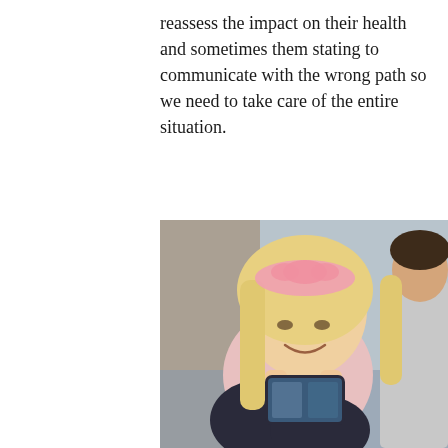reassess the impact on their health and sometimes them stating to communicate with the wrong path so we need to take care of the entire situation.
[Figure (photo): A young blonde girl with a pink headband sitting cross-legged, smiling while looking at a smartphone she holds in both hands. Another child in a grey top is partially visible to the right.]